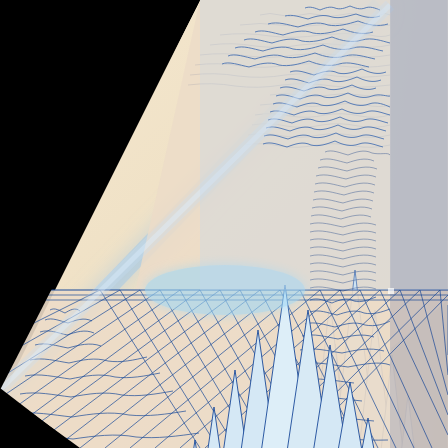[Figure (other): A fractal mathematical visualization showing complex recursive patterns in blue and white against a black background. The image displays characteristic fractal self-similarity with repeating branching structures resembling ferns or crystal growth patterns. The upper-left region is dominated by black space, while the right and lower portions are filled with intricate blue-outlined fractal shapes on a light beige/white background. Vertical spike-like structures appear in the upper-center area, and diagonal striped herringbone-like fractal patterns fill the lower half. The fractal boundary divides the image diagonally from lower-left to upper-right.]